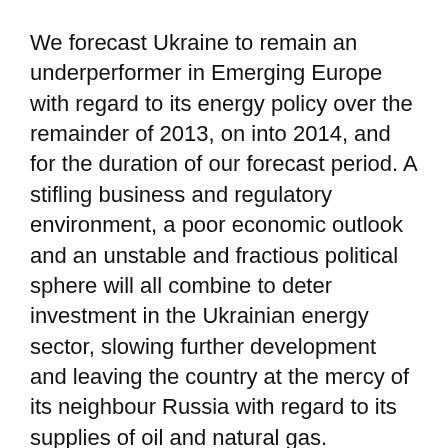We forecast Ukraine to remain an underperformer in Emerging Europe with regard to its energy policy over the remainder of 2013, on into 2014, and for the duration of our forecast period. A stifling business and regulatory environment, a poor economic outlook and an unstable and fractious political sphere will all combine to deter investment in the Ukrainian energy sector, slowing further development and leaving the country at the mercy of its neighbour Russia with regard to its supplies of oil and natural gas.
Ukraine is set to remain reliant on Russia for its supply of oil and natural gas for the foreseeable future, as domestic gas resources are not sufficient